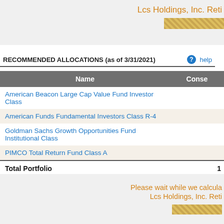Lcs Holdings, Inc. Reti
RECOMMENDED ALLOCATIONS (as of 3/31/2021)
| Name | Conse |
| --- | --- |
| American Beacon Large Cap Value Fund Investor Class |  |
| American Funds Fundamental Investors Class R-4 |  |
| Goldman Sachs Growth Opportunities Fund Institutional Class |  |
| PIMCO Total Return Fund Class A |  |
| Total Portfolio | 1 |
Please wait while we calcula
Lcs Holdings, Inc. Reti